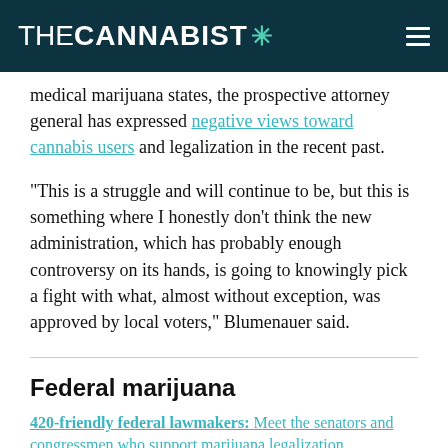THECANNABIST ✳
medical marijuana states, the prospective attorney general has expressed negative views toward cannabis users and legalization in the recent past.
“This is a struggle and will continue to be, but this is something where I honestly don’t think the new administration, which has probably enough controversy on its hands, is going to knowingly pick a fight with what, almost without exception, was approved by local voters,” Blumenauer said.
Federal marijuana
420-friendly federal lawmakers: Meet the senators and congressmen who support marijuana legalization